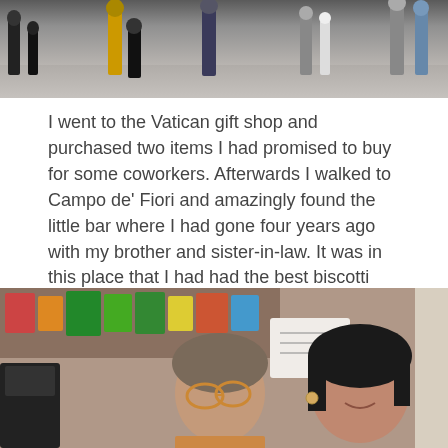[Figure (photo): Top portion of photo showing people standing in an open plaza or square, shot from ground level showing legs and lower bodies of multiple individuals]
I went to the Vatican gift shop and purchased two items I had promised to buy for some coworkers. Afterwards I walked to Campo de' Fiori and amazingly found the little bar where I had gone four years ago with my brother and sister-in-law. It was in this place that I had had the best biscotti ever, and have never found it since. The same signora was there, and when I showed her a photo I had taken of her four years previously, she was amazed too! The place looked exactly the same, and the same kind of biscotti were sitting in the same spot in the case. We had a conversation in Italian and I bought some biscotti and took another photo, giving her the one I had from four years ago.
[Figure (photo): Two women posing together inside a small Italian shop or bar with food items and colorful packaging visible on shelves behind them. The woman on the left is older with large glasses, the woman on the right has dark hair and is smiling.]